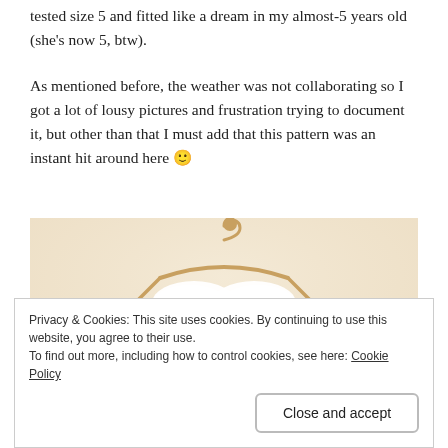tested size 5 and fitted like a dream in my almost-5 years old (she's now 5, btw).
As mentioned before, the weather was not collaborating so I got a lot of lousy pictures and frustration trying to document it, but other than that I must add that this pattern was an instant hit around here 🙂
[Figure (photo): A child's floral dress with a white peter pan collar hanging on a wooden hanger against a light peach/beige wall]
Privacy & Cookies: This site uses cookies. By continuing to use this website, you agree to their use.
To find out more, including how to control cookies, see here: Cookie Policy
Close and accept